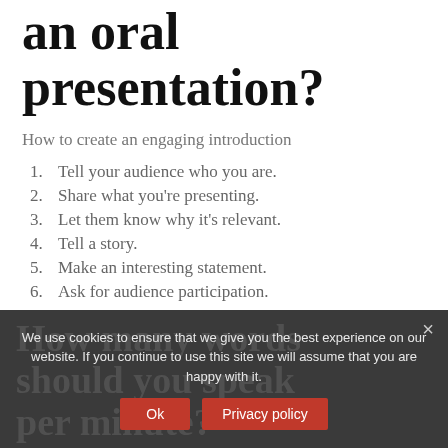an oral presentation?
How to create an engaging introduction
1. Tell your audience who you are.
2. Share what you're presenting.
3. Let them know why it's relevant.
4. Tell a story.
5. Make an interesting statement.
6. Ask for audience participation.
We use cookies to ensure that we give you the best experience on our website. If you continue to use this site we will assume that you are happy with it.